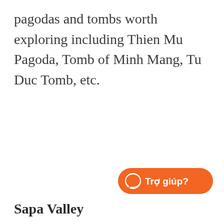pagodas and tombs worth exploring including Thien Mu Pagoda, Tomb of Minh Mang, Tu Duc Tomb, etc.
[Figure (other): Orange Messenger chat button with Vietnamese text 'Trợ giúp?' (Help?)]
Sapa Valley